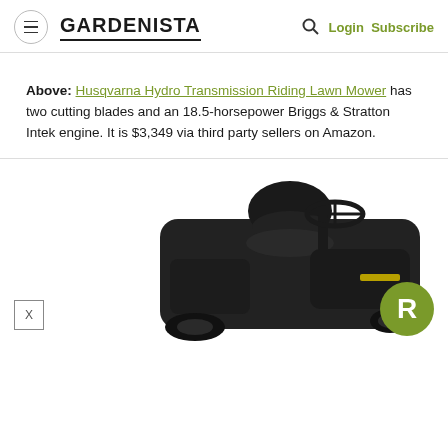GARDENISTA | Login Subscribe
Above: Husqvarna Hydro Transmission Riding Lawn Mower has two cutting blades and an 18.5-horsepower Briggs & Stratton Intek engine. It is $3,349 via third party sellers on Amazon.
[Figure (photo): Husqvarna riding lawn mower shown from above-rear angle, with black seat and steering wheel visible, partially cropped image against white background. Green R badge and X close button overlaid in bottom corners.]